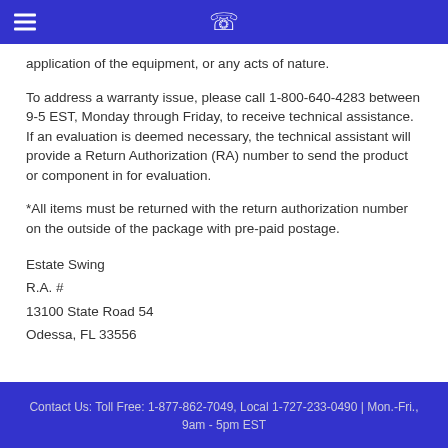application of the equipment, or any acts of nature.
To address a warranty issue, please call 1-800-640-4283 between 9-5 EST, Monday through Friday, to receive technical assistance. If an evaluation is deemed necessary, the technical assistant will provide a Return Authorization (RA) number to send the product or component in for evaluation.
*All items must be returned with the return authorization number on the outside of the package with pre-paid postage.
Estate Swing
R.A. #
13100 State Road 54
Odessa, FL 33556
Contact Us: Toll Free: 1-877-862-7049, Local 1-727-233-0490 | Mon.-Fri., 9am - 5pm EST